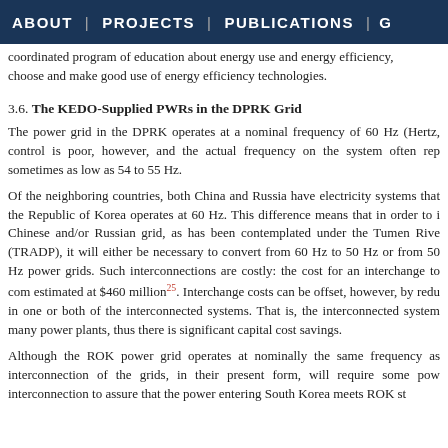ABOUT | PROJECTS | PUBLICATIONS | G
coordinated program of education about energy use and energy efficiency, choose and make good use of energy efficiency technologies.
3.6. The KEDO-Supplied PWRs in the DPRK Grid
The power grid in the DPRK operates at a nominal frequency of 60 Hz (Hertz, control is poor, however, and the actual frequency on the system often rep sometimes as low as 54 to 55 Hz.
Of the neighboring countries, both China and Russia have electricity systems that the Republic of Korea operates at 60 Hz. This difference means that in order to i Chinese and/or Russian grid, as has been contemplated under the Tumen Rive (TRADP), it will either be necessary to convert from 60 Hz to 50 Hz or from 50 Hz power grids. Such interconnections are costly: the cost for an interchange to com estimated at $460 million25. Interchange costs can be offset, however, by redu in one or both of the interconnected systems. That is, the interconnected system many power plants, thus there is significant capital cost savings.
Although the ROK power grid operates at nominally the same frequency as interconnection of the grids, in their present form, will require some pow interconnection to assure that the power entering South Korea meets ROK st